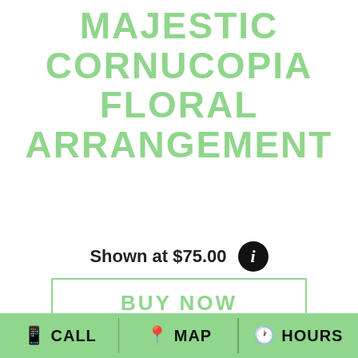MAJESTIC CORNUCOPIA FLORAL ARRANGEMENT
Shown at $75.00
BUY NOW
[Figure (illustration): Thanksgiving Special promotional banner with brown background and white script text reading 'THANKSGIVING Special']
CALL   MAP   HOURS